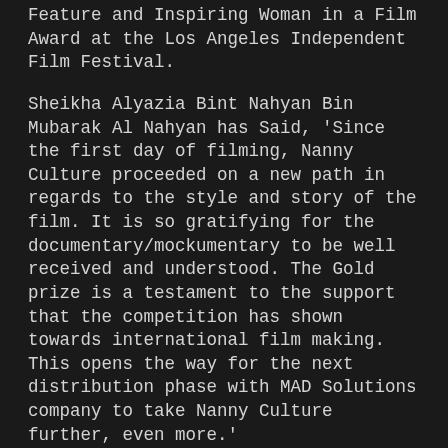Feature and Inspiring Woman in a Film Award at the Los Angeles Independent Film Festival.
Sheikha Alyazia Bint Nahyan Bin Mubarak Al Nahyan has Said, 'Since the first day of filming, Nanny Culture proceeded on a new path in regards to the style and story of the film. It is so gratifying for the documentary/mockumentary to be well received and understood. The Gold prize is a testament to the support that the competition has shown towards international film making. This opens the way for the next distribution phase with MAD Solutions company to take Nanny Culture further, even more.'
Directed by Paul James Driscoll, Nanny Culture is based on an idea by Sheikha Alyazia Bint Nahyan Bin Mubarak Al Nahyan and produced by Anasy Media Production. The film stars social media personality Abdulaziz Al Jassmi (Bin Baz), as well as musician and singer Omara 'Bombino' Moctar who contributed his song 'Tim Tar'.
The 80-minute film revolves around an Emirati family in